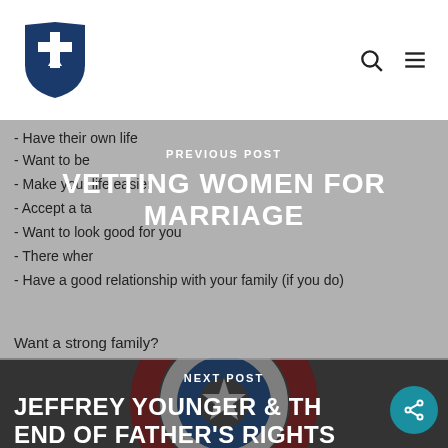[Figure (logo): Shield logo with cross/anchor symbol in white on dark blue background]
- Have their own life
- Want to be...
- Make your life easier
- Accept a ta...
- Want to look good for you
- There wher... (you do)
- Have a good relationship with your family (if you do)
Want a strong family?
PREVIOUS POST
VETTING WOMEN FOR MARRIAGE
NEXT POST
JEFFREY YOUNGER & TH END OF FATHER'S RIGHTS
[Figure (illustration): Captain America-style shield with red white and blue design and star, dark background]